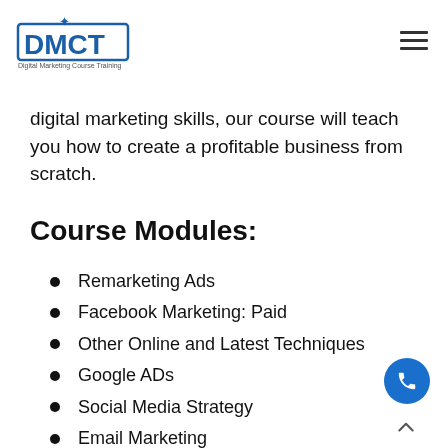[Figure (logo): DMCT Digital Marketing Course Training logo with blue text and figure icon]
digital marketing skills, our course will teach you how to create a profitable business from scratch.
Course Modules:
Remarketing Ads
Facebook Marketing: Paid
Other Online and Latest Techniques
Google ADs
Social Media Strategy
Email Marketing
Social Media Management